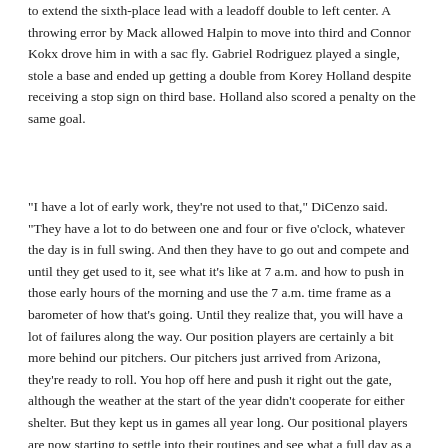to extend the sixth-place lead with a leadoff double to left center. A throwing error by Mack allowed Halpin to move into third and Connor Kokx drove him in with a sac fly. Gabriel Rodriguez played a single, stole a base and ended up getting a double from Korey Holland despite receiving a stop sign on third base. Holland also scored a penalty on the same goal.
"I have a lot of early work, they're not used to that," DiCenzo said. "They have a lot to do between one and four or five o'clock, whatever the day is in full swing. And then they have to go out and compete and until they get used to it, see what it's like at 7 a.m. and how to push in those early hours of the morning and use the 7 a.m. time frame as a barometer of how that's going. Until they realize that, you will have a lot of failures along the way. Our position players are certainly a bit more behind our pitchers. Our pitchers just arrived from Arizona, they're ready to roll. You hop off here and push it right out the gate, although the weather at the start of the year didn't cooperate for either shelter. But they kept us in games all year long. Our positional players are now starting to settle into their routines and see what a full day as a pro athlete looks like, especially for me here in Lake County."